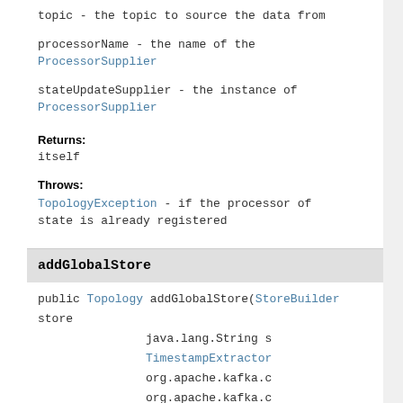topic - the topic to source the data from
processorName - the name of the ProcessorSupplier
stateUpdateSupplier - the instance of ProcessorSupplier
Returns:
itself
Throws:
TopologyException - if the processor of state is already registered
addGlobalStore
public Topology addGlobalStore(StoreBuilder store,
                              java.lang.String s,
                              TimestampExtractor
                              org.apache.kafka.c
                              org.apache.kafka.c
                              java.lang.String t
                              java.lang.String